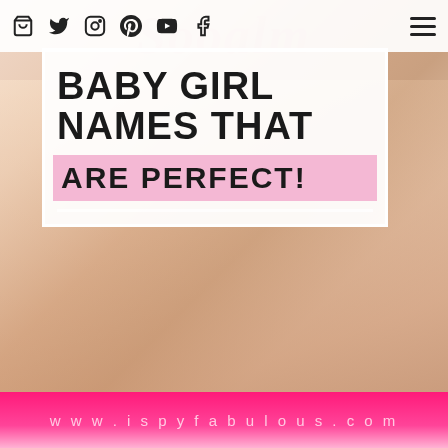Navigation bar with social icons and hamburger menu
[Figure (photo): Close-up photo of a baby's face showing soft skin tones in warm peach and beige tones, with a pink watermark script text overlay in background]
BABY GIRL NAMES THAT ARE PERFECT!
www.ispyfabulous.com